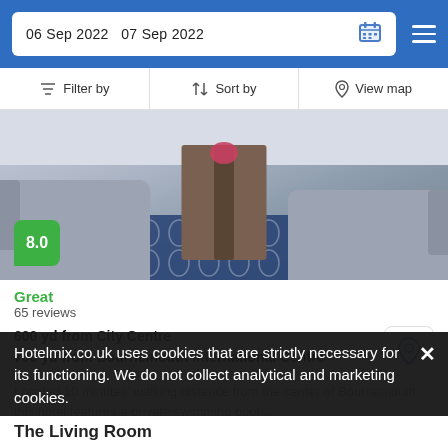06 Sep 2022   07 Sep 2022
Filter by   Sort by   View map
[Figure (photo): Hotel lounge area with grey sofas and a wooden coffee table on a blue patterned rug. Rating badge showing 8.0 in green.]
Great
65 reviews
600 yd from City Centre
700 yd from Bournemouth International Centre
Located 10 minutes' walking distance from the center of Bournemouth, this hotel features a private swimming pool…
from £ 203 /night
SELECT
Hotelmix.co.uk uses cookies that are strictly necessary for its functioning. We do not collect analytical and marketing cookies.
The Living Room